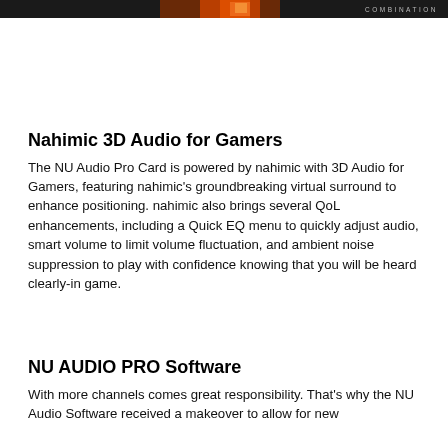COMBINATION
Nahimic 3D Audio for Gamers
The NU Audio Pro Card is powered by nahimic with 3D Audio for Gamers, featuring nahimic’s groundbreaking virtual surround to enhance positioning. nahimic also brings several QoL enhancements, including a Quick EQ menu to quickly adjust audio, smart volume to limit volume fluctuation, and ambient noise suppression to play with confidence knowing that you will be heard clearly-in game.
NU AUDIO PRO Software
With more channels comes great responsibility. That’s why the NU Audio Software received a makeover to allow for new configurations settings to digitally and digitally change channel...